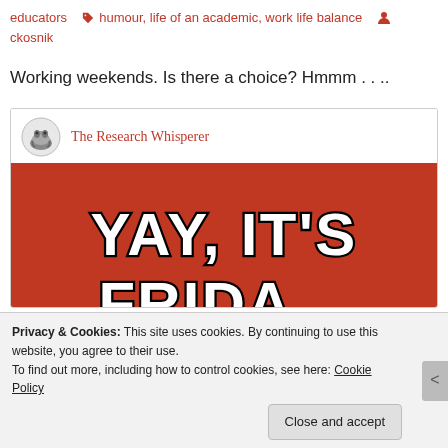educators  humour, life of an academic, work life balance  ckosnik
Working weekends. Is there a choice? Hmmm . . ..
[Figure (illustration): Embedded social media card from The Research Whisperer showing a meme image with orange/red background and text 'YAY, IT'S FRIDA...' with a cartoon Batman figure peeking from the bottom, partially cut off.]
Privacy & Cookies: This site uses cookies. By continuing to use this website, you agree to their use.
To find out more, including how to control cookies, see here: Cookie Policy